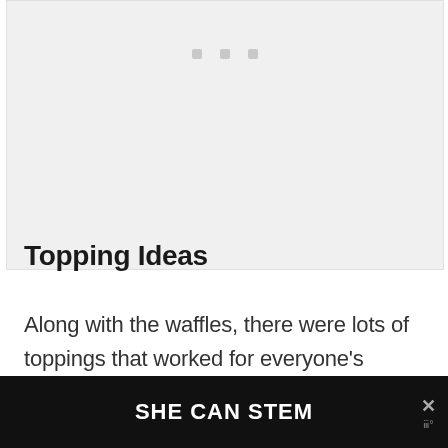[Figure (other): Light gray placeholder image area with three small gray square dots near the top center, representing an image loading state.]
Topping Ideas
Along with the waffles, there were lots of toppings that worked for everyone's different needs. Everyone enjoyed the berries.
[Figure (other): Social share buttons: blue Share button with count 147, red Pin button with count 2, cyan Tweet button.]
[Figure (other): Dark bottom banner with white bold text SHE CAN STEM and an X close icon on the right.]